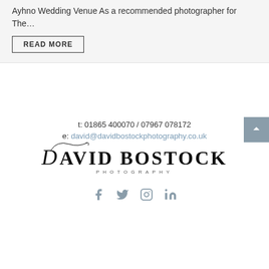Ayhno Wedding Venue As a recommended photographer for The…
READ MORE
t: 01865 400070 / 07967 078172
e: david@davidbostockphotography.co.uk
[Figure (logo): David Bostock Photography logo with serif font and decorative script swash]
[Figure (infographic): Social media icons: Facebook, Twitter, Instagram, LinkedIn]